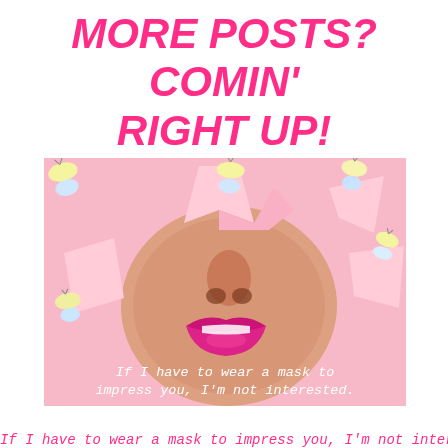MORE POSTS? COMIN' RIGHT UP!
[Figure (illustration): A woman's face (nose and hot-pink lips) peeking through a torn hole in pink paper. Colorful pastel butterflies are scattered around the image on a pink background.]
If I have to wear a mask to impress you, I'm not interested.
If I have to wear a mask to impress you, I'm not interested.